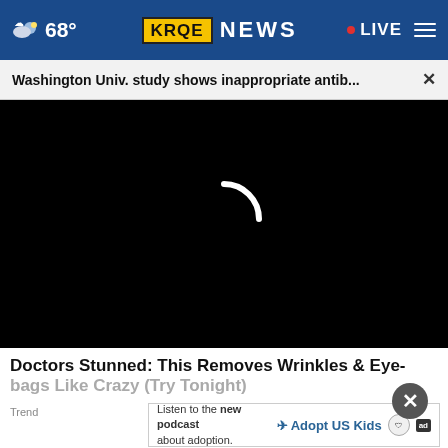68° KRQE NEWS LIVE
Washington Univ. study shows inappropriate antib... ×
[Figure (screenshot): Black video player area with loading spinner (partial circle) in white, indicating buffering/loading state]
Doctors Stunned: This Removes Wrinkles & Eye-bags Like Crazy (Try Tonight)
Trend
Listen to the new podcast about adoption. Adopt US Kids [ad]